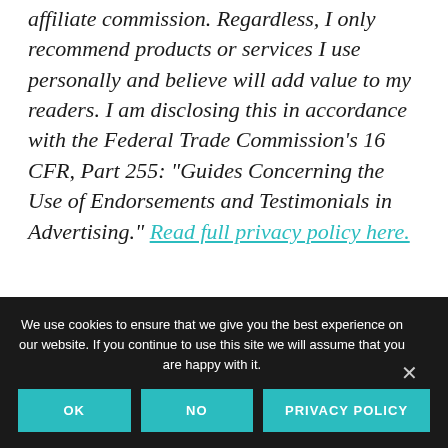affiliate commission. Regardless, I only recommend products or services I use personally and believe will add value to my readers. I am disclosing this in accordance with the Federal Trade Commission's 16 CFR, Part 255: "Guides Concerning the Use of Endorsements and Testimonials in Advertising." Read full privacy policy here.
We use cookies to ensure that we give you the best experience on our website. If you continue to use this site we will assume that you are happy with it.